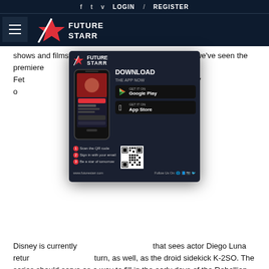f  t  v  LOGIN  /  REGISTER
[Figure (logo): Future Starr logo with hamburger menu and star logo mark]
shows and films. [ad overlay] ncements, we've seen the premiere er one - The Book of Boba Fet Clearly, Disney is banking heavily o it struck oil with The Mandalorian.
[Figure (screenshot): Future Starr app download popup ad showing phone mockup, Google Play and App Store buttons, QR code steps, and www.futurestarr.com URL]
Disney is currently that sees actor Diego Luna retur turn, as well, as the droid sidekick K-2SO. The series should serve as a way to fill in the early days of the Rebellion - between the rise of the Empire in Star Wars Episode III: Revenge of the Sith and Star Wars Episode IV: A New Hope - much like The Mandalorian fills the gap between the original trilogy and the newer sequel trilogy. (Source: www.pocket-lint.com)
Fi